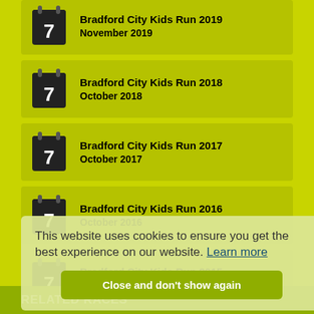Bradford City Kids Run 2019 / November 2019
Bradford City Kids Run 2018 / October 2018
Bradford City Kids Run 2017 / October 2017
Bradford City Kids Run 2016 / October 2016
Bradford City Kids Run 2015 / October 2015
Bradford City Kids Run 2014 / October 2014
This website uses cookies to ensure you get the best experience on our website. Learn more
RELATED RACES